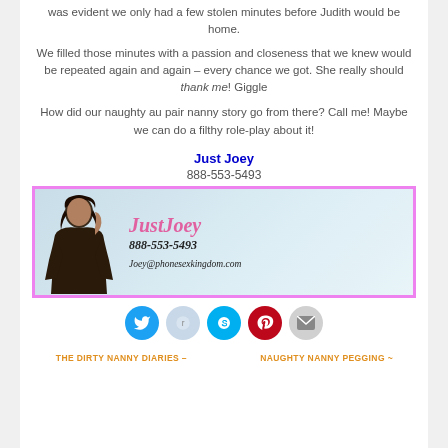was evident we only had a few stolen minutes before Judith would be home.
We filled those minutes with a passion and closeness that we knew would be repeated again and again – every chance we got. She really should thank me! Giggle
How did our naughty au pair nanny story go from there? Call me! Maybe we can do a filthy role-play about it!
Just Joey
888-553-5493
[Figure (photo): Promotional banner with woman in black outfit, text JustJoey, 888-553-5493, Joey@phonesexkingdom.com, pink border]
[Figure (infographic): Social share buttons: Twitter (blue), Reddit (light blue), Skype (blue), Pinterest (red), Email (gray)]
THE DIRTY NANNY DIARIES –
NAUGHTY NANNY PEGGING ~